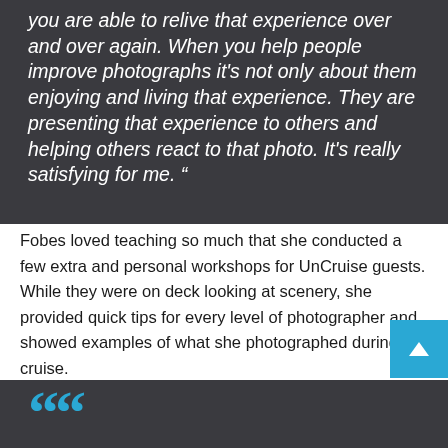you are able to relive that experience over and over again. When you help people improve photographs it's not only about them enjoying and living that experience. They are presenting that experience to others and helping others react to that photo. It's really satisfying for me. “
Fobes loved teaching so much that she conducted a few extra and personal workshops for UnCruise guests. While they were on deck looking at scenery, she provided quick tips for every level of photographer and showed examples of what she photographed during the cruise.
[Figure (other): Bottom dark block with large cyan quotation marks beginning a new quote section]